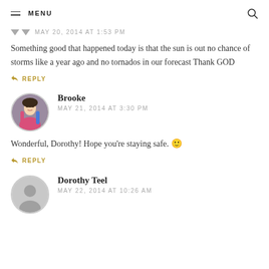MENU
MAY 20, 2014 AT 1:53 PM
Something good that happened today is that the sun is out no chance of storms like a year ago and no tornados in our forecast Thank GOD
↩ REPLY
Brooke
MAY 21, 2014 AT 3:30 PM
Wonderful, Dorothy! Hope you're staying safe. 🙂
↩ REPLY
Dorothy Teel
MAY 22, 2014 AT 10:26 AM